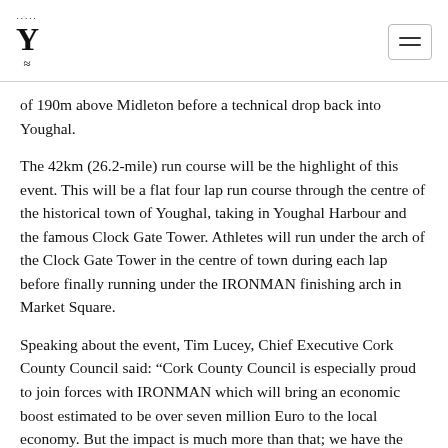Y (logo)
of 190m above Midleton before a technical drop back into Youghal.
The 42km (26.2-mile) run course will be the highlight of this event. This will be a flat four lap run course through the centre of the historical town of Youghal, taking in Youghal Harbour and the famous Clock Gate Tower. Athletes will run under the arch of the Clock Gate Tower in the centre of town during each lap before finally running under the IRONMAN finishing arch in Market Square.
Speaking about the event, Tim Lucey, Chief Executive Cork County Council said: “Cork County Council is especially proud to join forces with IRONMAN which will bring an economic boost estimated to be over seven million Euro to the local economy. But the impact is much more than that; we have the opportunity to promote East Cork but go even further into all that Cork has to offer. We will showcase sport but most importantly of all, we will showcase community spirit. This will be an event that